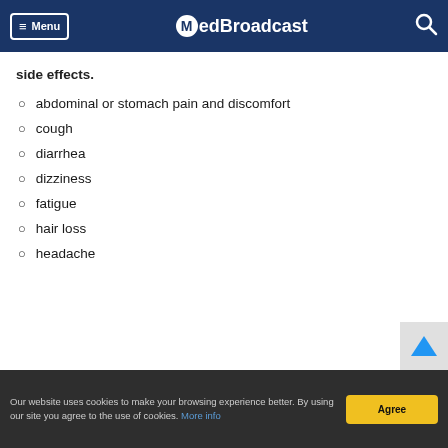MedBroadcast — Menu / Search header
side effects.
abdominal or stomach pain and discomfort
cough
diarrhea
dizziness
fatigue
hair loss
headache
Our website uses cookies to make your browsing experience better. By using our site you agree to the use of cookies. More info